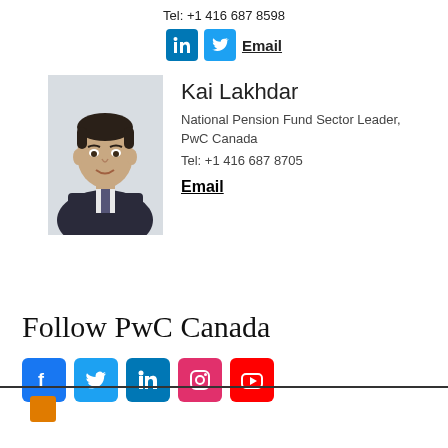Tel: +1 416 687 8598
in [LinkedIn icon] [Twitter icon] Email
[Figure (photo): Headshot photo of Kai Lakhdar, a man in a dark suit with a tie, smiling, against a light background]
Kai Lakhdar
National Pension Fund Sector Leader, PwC Canada
Tel: +1 416 687 8705
Email
Follow PwC Canada
[Figure (logo): Social media icons row: Facebook (blue), Twitter (blue), LinkedIn (blue), Instagram (pink/red), YouTube (red)]
[Figure (logo): PwC orange logo square at bottom]